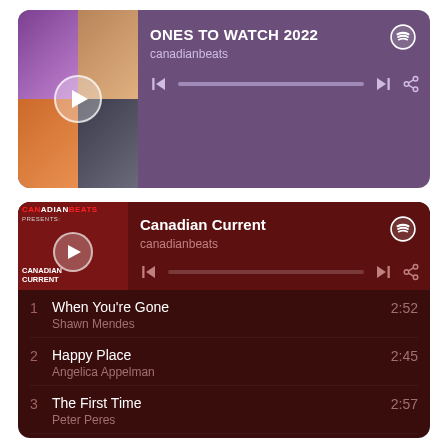[Figure (screenshot): Spotify playlist widget for 'ONES TO WATCH 2022' by canadianbeats, showing album art collage, play button, playlist title, author, progress bar, and navigation controls on a purple/violet background.]
[Figure (screenshot): Spotify playlist widget for 'Canadian Current' by canadianbeats, showing Canadian Beats logo with play button, playlist title, author, progress bar, navigation controls on dark red background, followed by track list: 1. When You're Gone - Shawn Mendes 2:52, 2. Happy Place - Angelica Appelman 2:45, 3. The First Time - Peter Peres 2:57, 4. Die Alone 2:47]